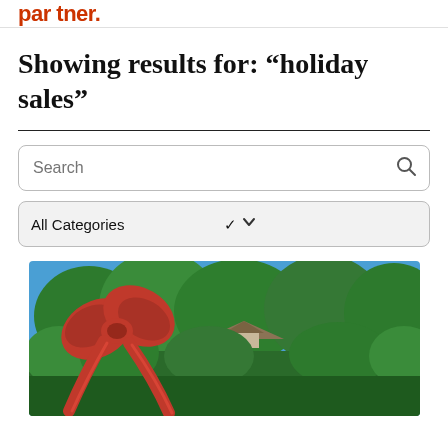par tner.
Showing results for: “holiday sales”
[Figure (screenshot): Search bar UI element with placeholder text 'Search' and a magnifying glass icon on the right]
[Figure (screenshot): Dropdown selector UI element showing 'All Categories' with a chevron/down arrow on the right]
[Figure (photo): Photograph of a house with green trees and blue sky, with a large red Christmas bow overlaid in the bottom-left corner]